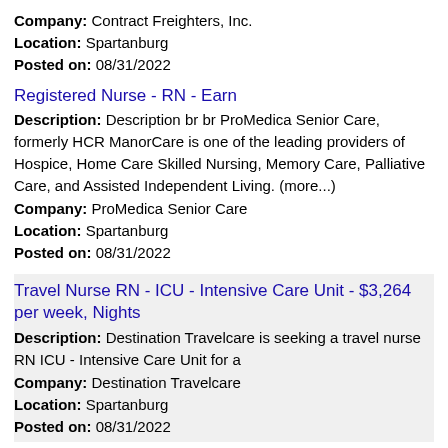Company: Contract Freighters, Inc.
Location: Spartanburg
Posted on: 08/31/2022
Registered Nurse - RN - Earn
Description: Description br br ProMedica Senior Care, formerly HCR ManorCare is one of the leading providers of Hospice, Home Care Skilled Nursing, Memory Care, Palliative Care, and Assisted Independent Living. (more...)
Company: ProMedica Senior Care
Location: Spartanburg
Posted on: 08/31/2022
Travel Nurse RN - ICU - Intensive Care Unit - $3,264 per week, Nights
Description: Destination Travelcare is seeking a travel nurse RN ICU - Intensive Care Unit for a
Company: Destination Travelcare
Location: Spartanburg
Posted on: 08/31/2022
Crew Member at Sonic Drive In
Description: Job DescriptionFun. Flexible hours. Great pay. Fantastic people. Professional fulfillment. Can this possibly get